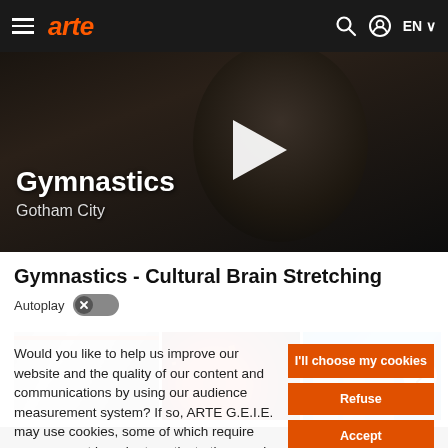[Figure (screenshot): ARTE website navigation bar with hamburger menu, orange italic ARTE logo, search icon, profile icon, and EN language selector on dark background]
[Figure (screenshot): Video hero section showing a dark cinematic still with a large play button. Title 'Gymnastics' and subtitle 'Gotham City' overlaid on left.]
Gymnastics - Cultural Brain Stretching
Autoplay
[Figure (screenshot): Three video thumbnails: black and white group scene, red-background figure with laser, blue-background dancers. Next arrow button on right.]
Would you like to help us improve our website and the quality of our content and communications by using our audience measurement system? If so, ARTE G.E.I.E. may use cookies, some of which require your consent in order to activate them and thereby help us improve your user experience.
I'll choose my cookies
Refuse
Accept